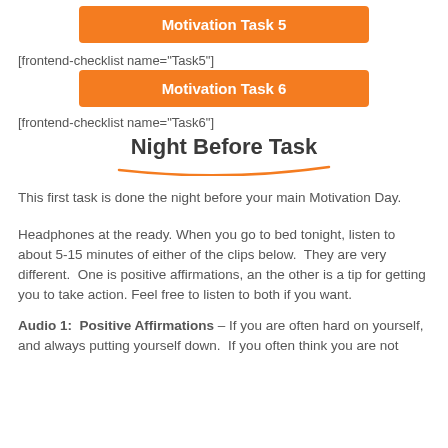Motivation Task 5
[frontend-checklist name="Task5"]
Motivation Task 6
[frontend-checklist name="Task6"]
Night Before Task
This first task is done the night before your main Motivation Day.
Headphones at the ready. When you go to bed tonight, listen to about 5-15 minutes of either of the clips below.  They are very different.  One is positive affirmations, an the other is a tip for getting you to take action. Feel free to listen to both if you want.
Audio 1:  Positive Affirmations – If you are often hard on yourself, and always putting yourself down.  If you often think you are not